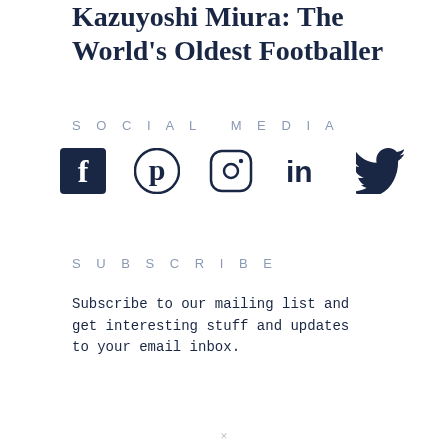Kazuyoshi Miura: The World's Oldest Footballer
SOCIAL MEDIA
[Figure (infographic): Row of five social media icons: Facebook, Pinterest, Instagram, LinkedIn, Twitter in dark navy blue]
SUBSCRIBE
Subscribe to our mailing list and get interesting stuff and updates to your email inbox.
×